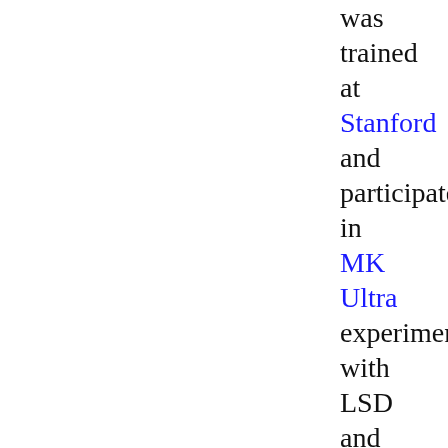was trained at Stanford and participated in MK Ultra experiments with LSD and DMT at Veterans